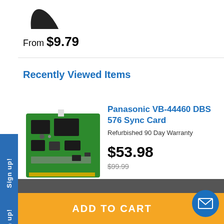[Figure (photo): Partial view of a product (dark elongated object, top portion cut off)]
From $9.79
Recently Viewed Items
[Figure (photo): Panasonic VB-44460 DBS 576 Sync Card - green circuit board with chips]
Panasonic VB-44460 DBS 576 Sync Card
Refurbished 90 Day Warranty
$53.98
$99.99
ADD TO CART